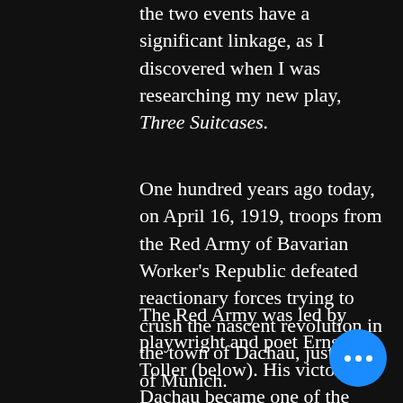the two events have a significant linkage, as I discovered when I was researching my new play, Three Suitcases.
One hundred years ago today, on April 16, 1919, troops from the Red Army of Bavarian Worker's Republic defeated reactionary forces trying to crush the nascent revolution in the town of Dachau, just north of Munich.
The Red Army was led by playwright and poet Ernst Toller (below). His victory in Dachau became one of the foundations of his fame in subsequent years. The artist who bloodied the nose of the counter-revolutionaries.